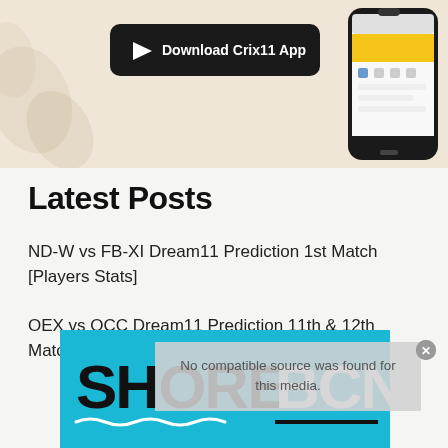[Figure (screenshot): App download banner showing 'Download Crix11 App' button with play icon on dark background, and a smartphone mockup on the right side, set against a light beige/floral background.]
Latest Posts
ND-W vs FB-XI Dream11 Prediction 1st Match [Players Stats]
OEX vs OCC Dream11 Prediction 11th & 12th Match [Players Stats]
No compatible source was found for this media.
[Figure (logo): SHOREBCN logo on cyan/teal blue background with wave decoration underline]